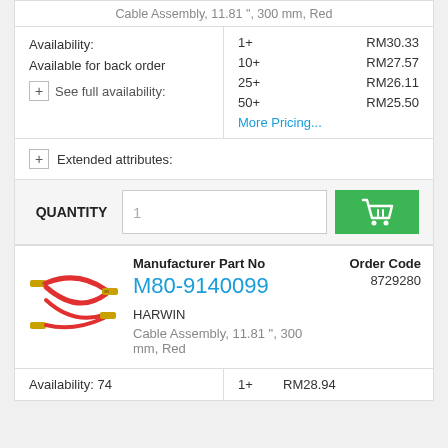Cable Assembly, 11.81 ", 300 mm, Red
| Availability / Info | Qty / Price |
| --- | --- |
| Availability: | 1+  RM30.33 |
| Available for back order | 10+  RM27.57 |
| + See full availability: | 25+  RM26.11 |
|  | 50+  RM25.50 |
|  | More Pricing... |
+ Extended attributes:
QUANTITY  1  [cart button]
[Figure (photo): Red cable assembly with gold connector terminals on both ends]
Manufacturer Part No  M80-9140099  Order Code 8729280
HARWIN
Cable Assembly, 11.81 ", 300 mm, Red
| Availability | Qty | Price |
| --- | --- | --- |
| Availability: 74 | 1+ | RM28.94 |